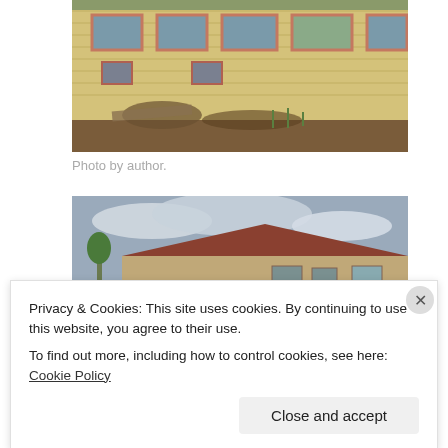[Figure (photo): Abandoned yellow brick building with broken windows and debris on the ground in front]
Photo by author.
[Figure (photo): Exterior of a dilapidated building with a peaked roof under a cloudy sky, with trees visible in background]
Privacy & Cookies: This site uses cookies. By continuing to use this website, you agree to their use.
To find out more, including how to control cookies, see here: Cookie Policy